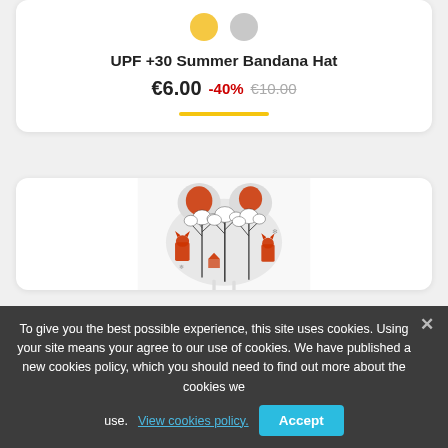UPF +30 Summer Bandana Hat
€6.00 -40% €10.00
[Figure (photo): A baby/children's bandana hat with a woodland fox and trees pattern in red, grey, and black/white. The hat is shown from behind, with the fabric folded and tied.]
To give you the best possible experience, this site uses cookies. Using your site means your agree to our use of cookies. We have published a new cookies policy, which you should need to find out more about the cookies we use. View cookies policy.